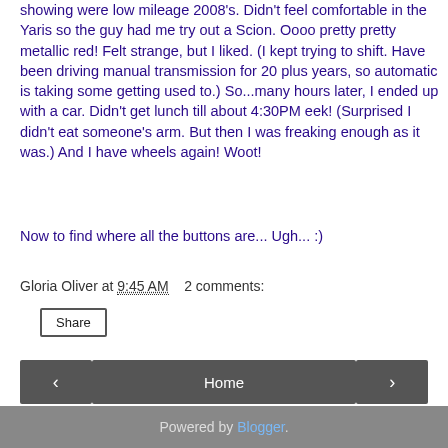Still we looked at new and used – the used ones he was showing were low mileage 2008's. Didn't feel comfortable in the Yaris so the guy had me try out a Scion. Oooo pretty pretty metallic red! Felt strange, but I liked. (I kept trying to shift. Have been driving manual transmission for 20 plus years, so automatic is taking some getting used to.) So...many hours later, I ended up with a car. Didn't get lunch till about 4:30PM eek! (Surprised I didn't eat someone's arm. But then I was freaking enough as it was.) And I have wheels again! Woot!
Now to find where all the buttons are... Ugh... :)
Gloria Oliver at 9:45 AM   2 comments:
Share
‹
Home
›
View web version
Powered by Blogger.